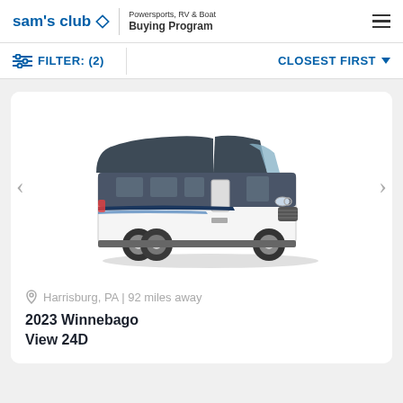sam's club — Powersports, RV & Boat Buying Program
FILTER: (2)   CLOSEST FIRST
[Figure (photo): 2023 Winnebago View 24D Class C motorhome, white and dark gray/navy, shown at 3/4 front angle on white background]
Harrisburg, PA | 92 miles away
2023 Winnebago
View 24D